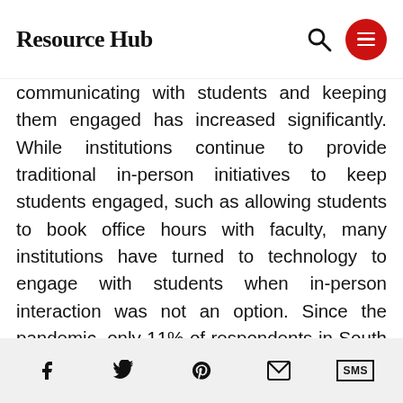Resource Hub
communicating with students and keeping them engaged has increased significantly. While institutions continue to provide traditional in-person initiatives to keep students engaged, such as allowing students to book office hours with faculty, many institutions have turned to technology to engage with students when in-person interaction was not an option. Since the pandemic, only 11% of respondents in South Africa are back to in-person learning with 51% staying at full-time online learning and 38% remaining at part-time remote learning. Hence, the role of technology remains a key priority and our respondents identified that institutions have
f  [twitter]  [pinterest]  [email]  SMS